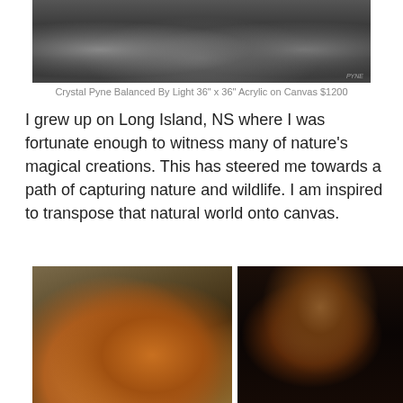[Figure (photo): Black and white painting of elephants, partially cropped at top]
Crystal Pyne Balanced By Light 36" x 36" Acrylic on Canvas $1200
I grew up on Long Island, NS where I was fortunate enough to witness many of nature's magical creations. This has steered me towards a path of capturing nature and wildlife. I am inspired to transpose that natural world onto canvas.
[Figure (photo): Painting of a red fox resting near water with autumn grasses]
[Figure (photo): Painting of a horse portrait on dark background, warm brown tones]